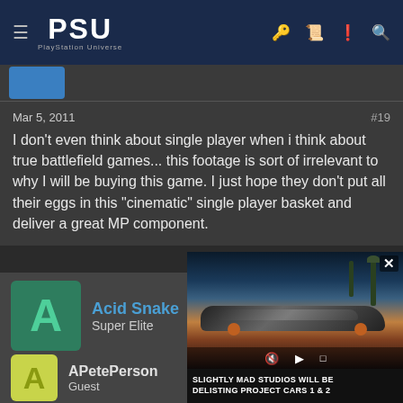PSU PlayStation Universe
Mar 5, 2011  #19
I don't even think about single player when i think about true battlefield games... this footage is sort of irrelevant to why I will be buying this game. I just hope they don't put all their eggs in this "cinematic" single player basket and deliver a great MP component.
Acid Snake
Super Elite
Mar 5, 2011  #20
Damn it, I'm gonna need a new video car...
APetePerson
Guest
[Figure (screenshot): Video advertisement overlay showing a sports car with text 'SLIGHTLY MAD STUDIOS WILL BE DELISTING PROJECT CARS 1 & 2' and video playback controls]